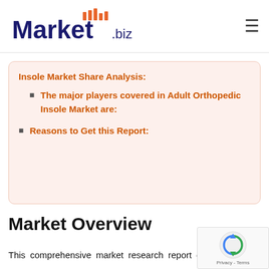Market.biz
Insole Market Share Analysis:
The major players covered in Adult Orthopedic Insole Market are:
Reasons to Get this Report:
Market Overview
This comprehensive market research report offers of an in-depth outlook on the Global Adult Orthopedic Insole Market encompassing crucial factors such as the overall size of the global adult orthopedic insole market, in both regional and country-wise terms, as well as market share